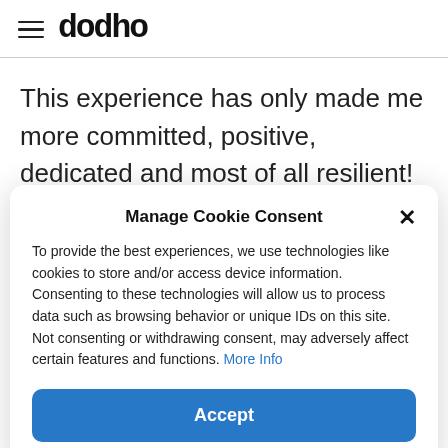dodho
This experience has only made me more committed, positive, dedicated and most of all resilient! This time has opened my eyes
Manage Cookie Consent
To provide the best experiences, we use technologies like cookies to store and/or access device information. Consenting to these technologies will allow us to process data such as browsing behavior or unique IDs on this site. Not consenting or withdrawing consent, may adversely affect certain features and functions. More Info